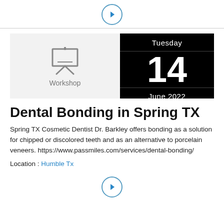[Figure (other): Navigation circle button with right-pointing triangle arrow at top of page]
[Figure (other): Event card showing workshop icon on gray background and date Tuesday 14 June 2022 on black background]
Dental Bonding in Spring TX
Spring TX Cosmetic Dentist Dr. Barkley offers bonding as a solution for chipped or discolored teeth and as an alternative to porcelain veneers. https://www.passmiles.com/services/dental-bonding/
Location : Humble Tx
[Figure (other): Navigation circle button with right-pointing triangle arrow at bottom of page]